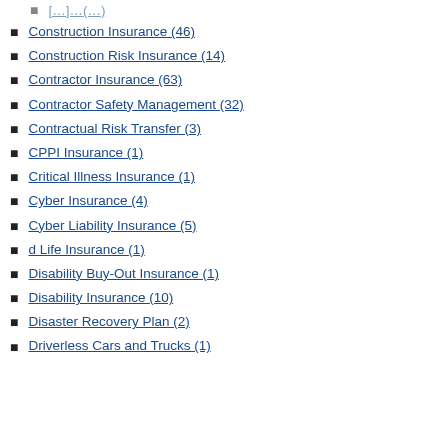Construction Insurance (46)
Construction Risk Insurance (14)
Contractor Insurance (63)
Contractor Safety Management (32)
Contractual Risk Transfer (3)
CPPI Insurance (1)
Critical Illness Insurance (1)
Cyber Insurance (4)
Cyber Liability Insurance (5)
d Life Insurance (1)
Disability Buy-Out Insurance (1)
Disability Insurance (10)
Disaster Recovery Plan (2)
Driverless Cars and Trucks (1)